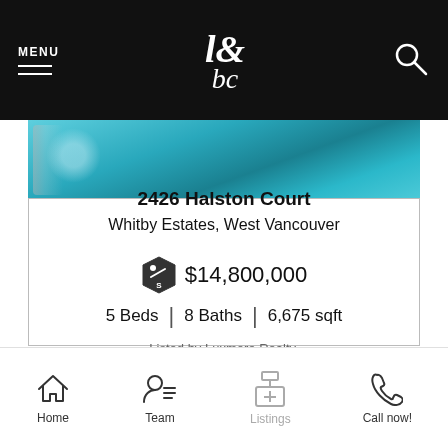MENU | b&c logo | search icon
[Figure (photo): Swimming pool water surface with blue tiles and silver railing visible]
2426 Halston Court
Whitby Estates, West Vancouver
$14,800,000
5 Beds | 8 Baths | 6,675 sqft
Listed by Luxmore Realty.
Home | Team | Listings | Call now!